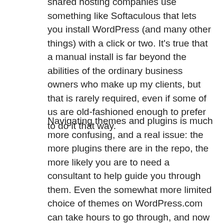shared hosting companies use something like Softaculous that lets you install WordPress (and many other things) with a click or two. It's true that a manual install is far beyond the abilities of the ordinary business owners who make up my clients, but that is rarely required, even if some of us are old-fashioned enough to prefer to do it that way.
Navigating themes and plugins is much more confusing, and a real issue: the more plugins there are in the repo, the more likely you are to need a consultant to help guide you through them. Even the somewhat more limited choice of themes on WordPress.com can take hours to go through, and now that WordPress.com is allowing plugins for business plan users, their potential overwhelm is only going to grow.